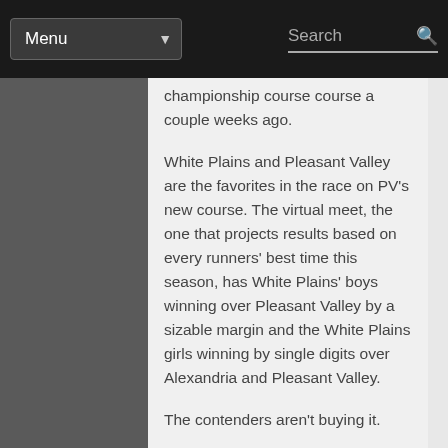Menu | Search
championship course course a couple weeks ago.
White Plains and Pleasant Valley are the favorites in the race on PV's new course. The virtual meet, the one that projects results based on every runners' best time this season, has White Plains' boys winning over Pleasant Valley by a sizable margin and the White Plains girls winning by single digits over Alexandria and Pleasant Valley.
The contenders aren't buying it.
“Probably two to four points will separate Pleasant Valley and White Plains,” Wildcats coach John Moore said. “If everybody's healthy and doing their very best the virtual meet is pretty close (to projections). It doesn't take into